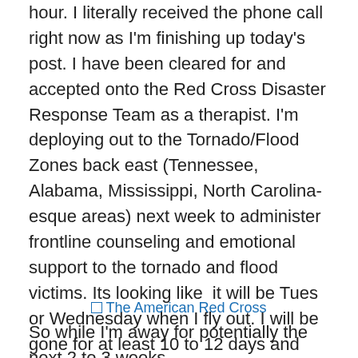hour. I literally received the phone call right now as I'm finishing up today's post. I have been cleared for and accepted onto the Red Cross Disaster Response Team as a therapist. I'm deploying out to the Tornado/Flood Zones back east (Tennessee, Alabama, Mississippi, North Carolina-esque areas) next week to administer frontline counseling and emotional support to the tornado and flood victims. Its looking like  it will be Tues or Wednesday when I fly out. I will be gone for at least 10 to 12 days and could potentially remain out in the field for up to three weeks per cycle. *side note*  Even if I leave on Tuesday morning, I'll still have been able to see SAM BRADLEY perform the night before. PHEW! A girl still has a couple of #priorities.
[Figure (other): Broken image placeholder showing 'The American Red Cross' link text in blue]
So while I'm away for potentially the next 2 to 3 weeks, I hope that the Tunes & the Tuesday (10 Dollar...